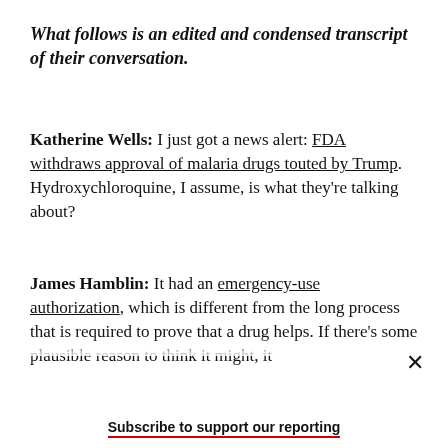What follows is an edited and condensed transcript of their conversation.
Katherine Wells: I just got a news alert: FDA withdraws approval of malaria drugs touted by Trump. Hydroxychloroquine, I assume, is what they're talking about?
James Hamblin: It had an emergency-use authorization, which is different from the long process that is required to prove that a drug helps. If there's some plausible reason to think it might, it
Subscribe to support our reporting